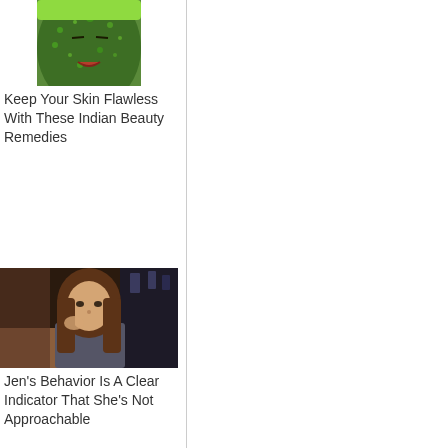[Figure (photo): Person with green face mask applied to skin, eyes closed]
Keep Your Skin Flawless With These Indian Beauty Remedies
[Figure (photo): Woman with long brown hair sitting in what appears to be a TV studio setting]
Jen's Behavior Is A Clear Indicator That She's Not Approachable